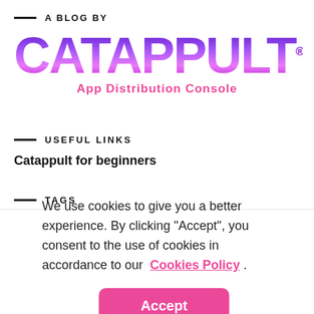A BLOG BY
[Figure (logo): CATAPPULT logo in purple-to-pink gradient with registered trademark symbol]
App Distribution Console
USEFUL LINKS
Catappult for beginners
TAGS
We use cookies to give you a better experience. By clicking "Accept", you consent to the use of cookies in accordance to our Cookies Policy .
Accept